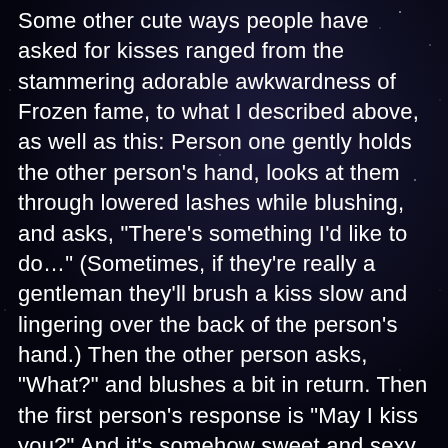Some other cute ways people have asked for kisses ranged from the stammering adorable awkwardness of Frozen fame, to what I described above, as well as this: Person one gently holds the other person's hand, looks at them through lowered lashes while blushing, and asks, “There’s something I’d like to do…” (Sometimes, if they’re really a gentleman they’ll brush a kiss slow and lingering over the back of the person’s hand.) Then the other person asks, “What?” and blushes a bit in return. Then the first person’s response is “May I kiss you?” And it’s somehow sweet and sexy and a slow burn all at once.
Hell, there’s several places where people did ask for consent to kiss, and got a “no,” then backed off